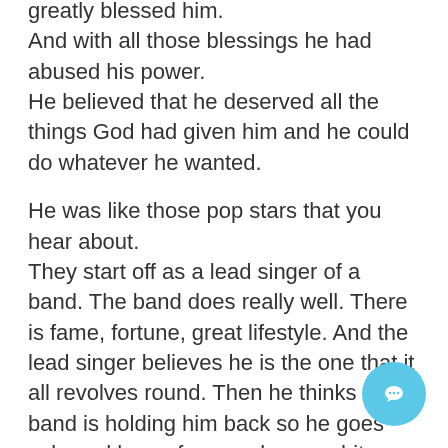greatly blessed him. And with all those blessings he had abused his power. He believed that he deserved all the things God had given him and he could do whatever he wanted.
He was like those pop stars that you hear about. They start off as a lead singer of a band. The band does really well. There is fame, fortune, great lifestyle. And the lead singer believes he is the one that it all revolves round. Then he thinks the band is holding him back so he goes solo and has a few number one hits. But then the singer believes that they are something else, something above normal humans. And they end up
[Figure (other): A circular chat button with a speech bubble icon, light blue background, positioned at bottom right.]